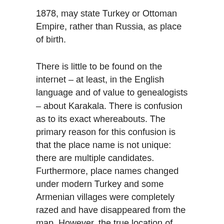1878, may state Turkey or Ottoman Empire, rather than Russia, as place of birth.
There is little to be found on the internet – at least, in the English language and of value to genealogists – about Karakala. There is confusion as to its exact whereabouts. The primary reason for this confusion is that the place name is not unique: there are multiple candidates. Furthermore, place names changed under modern Turkey and some Armenian villages were completely razed and have disappeared from the map. However, the true location of Armenian Karakala can be determined with confidence.
Imperial Russia, like other late 19th century empires, took a lively interest in demographics and ethnography (not least because nationalism needed to be monitored